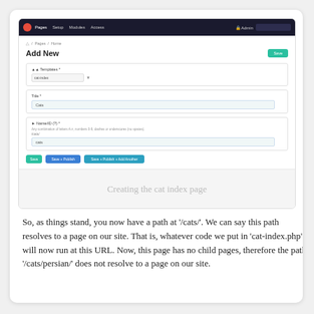[Figure (screenshot): A CMS admin interface showing an 'Add New' page form with fields for Template (cat-index), Title (Cats), Name/ID (cats), and buttons: Save, Save + Publish, Save + Publish + Add Another. Navigation bar at top with Pages, Setup, Modules, Access menus.]
Creating the cat index page
So, as things stand, you now have a path at '/cats/'. We can say this path resolves to a page on our site. That is, whatever code we put in 'cat-index.php' will now run at this URL. Now, this page has no child pages, therefore the path '/cats/persian/' does not resolve to a page on our site.